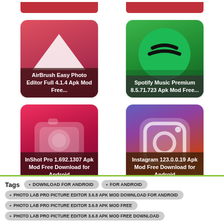[Figure (screenshot): AirBrush Easy Photo Editor Full 4.1.4 Apk Mod Free... app card thumbnail]
[Figure (screenshot): Spotify Music Premium 8.5.71.723 Apk Mod Free... app card thumbnail]
[Figure (screenshot): InShot Pro 1.692.1307 Apk Mod Free Download for Android app card thumbnail]
[Figure (screenshot): Instagram 123.0.0.19 Apk Mod Free Download for Android app card thumbnail]
Tags
DOWNLOAD FOR ANDROID
FOR ANDROID
PHOTO LAB PRO PICTURE EDITOR 3.6.8 APK MOD DOWNLOAD FOR ANDROID
PHOTO LAB PRO PICTURE EDITOR 3.6.8 APK MOD FREE
PHOTO LAB PRO PICTURE EDITOR 3.6.8 APK MOD FREE DOWNLOAD